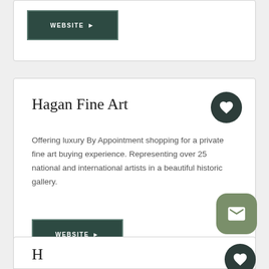[Figure (other): Partial card at top with WEBSITE button]
Hagan Fine Art
Offering luxury By Appointment shopping for a private fine art buying experience. Representing over 25 national and international artists in a beautiful historic gallery.
WEBSITE ▶
[Figure (other): Partial card at bottom with title beginning 'H' – likely 'Hebrew Institute of Creative...']